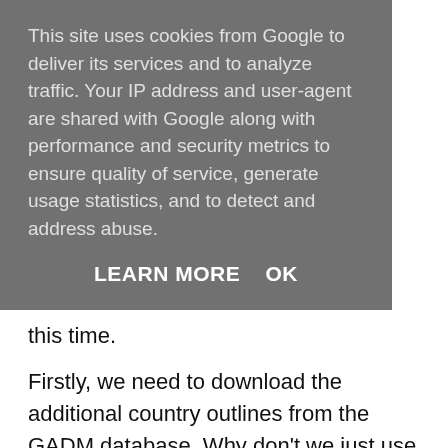This site uses cookies from Google to deliver its services and to analyze traffic. Your IP address and user-agent are shared with Google along with performance and security metrics to ensure quality of service, generate usage statistics, and to detect and address abuse.
LEARN MORE   OK
this time.
Firstly, we need to download the additional country outlines from the GADM database. Why don't we just use the "world" outline from the "maps" package as we did in the previous guide? Well, the resolution of that outline is much lower than the individual country outlines, so will not look as good.